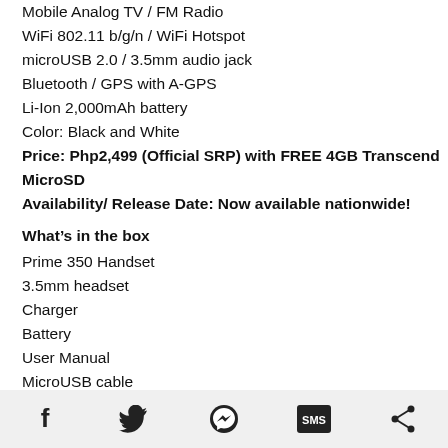Mobile Analog TV / FM Radio
WiFi 802.11 b/g/n / WiFi Hotspot
microUSB 2.0 / 3.5mm audio jack
Bluetooth / GPS with A-GPS
Li-Ion 2,000mAh battery
Color: Black and White
Price: Php2,499 (Official SRP) with FREE 4GB Transcend MicroSD
Availability/ Release Date: Now available nationwide!
What’s in the box
Prime 350 Handset
3.5mm headset
Charger
Battery
User Manual
MicroUSB cable
Social share bar with Facebook, Twitter, Messenger, SMS, Share icons